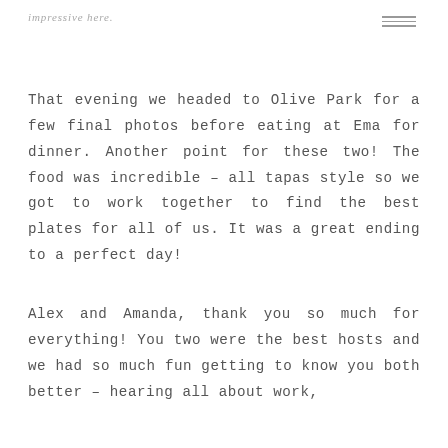impressive here.
That evening we headed to Olive Park for a few final photos before eating at Ema for dinner. Another point for these two! The food was incredible – all tapas style so we got to work together to find the best plates for all of us. It was a great ending to a perfect day!
Alex and Amanda, thank you so much for everything! You two were the best hosts and we had so much fun getting to know you both better – hearing all about work,